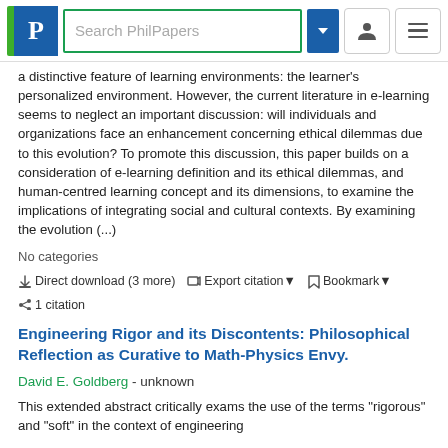Search PhilPapers
a distinctive feature of learning environments: the learner's personalized environment. However, the current literature in e-learning seems to neglect an important discussion: will individuals and organizations face an enhancement concerning ethical dilemmas due to this evolution? To promote this discussion, this paper builds on a consideration of e-learning definition and its ethical dilemmas, and human-centred learning concept and its dimensions, to examine the implications of integrating social and cultural contexts. By examining the evolution (...)
No categories
Direct download (3 more)  Export citation  Bookmark  1 citation
Engineering Rigor and its Discontents: Philosophical Reflection as Curative to Math-Physics Envy.
David E. Goldberg - unknown
This extended abstract critically exams the use of the terms "rigorous" and "soft" in the context of engineering